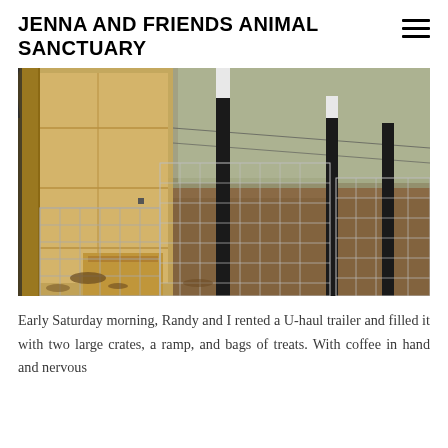JENNA AND FRIENDS ANIMAL SANCTUARY
[Figure (photo): Outdoor animal enclosure with wire mesh fencing panels, metal fence posts (black), wooden posts, a wooden shed/shelter structure with plywood walls, dirt ground covered with fallen leaves, and trees in the background.]
Early Saturday morning, Randy and I rented a U-haul trailer and filled it with two large crates, a ramp, and bags of treats. With coffee in hand and nervous